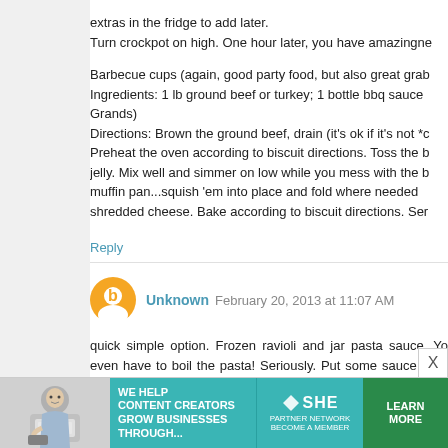extras in the fridge to add later.
Turn crockpot on high. One hour later, you have amazingne
Barbecue cups (again, good party food, but also great grab Ingredients: 1 lb ground beef or turkey; 1 bottle bbq sauce Grands)
Directions: Brown the ground beef, drain (it's ok if it's not *c Preheat the oven according to biscuit directions. Toss the b jelly. Mix well and simmer on low while you mess with the b muffin pan...squish 'em into place and fold where needed shredded cheese. Bake according to biscuit directions. Ser
Reply
Unknown  February 20, 2013 at 11:07 AM
quick simple option. Frozen ravioli and jar pasta sauce. Yo even have to boil the pasta! Seriously. Put some sauce on b grated Italian cheese. Cover and cook at 350 for 35 - 4 slathered in butter and add that the last 10 minutes of cooki
Also, my next easiest meal. Can of chili, can of refried bean first three ingredients to a microwave safe bowl and cook want to cover the bowl. Take a couple flour tortillas and pu bean mixture and some cheese on each, roll and enjo it with corn chips and grated cheese, throw in the mic
[Figure (infographic): SHE Partner Network advertisement banner: photo of woman with laptop on left, teal background with text 'We help content creators grow businesses through...' and SHE logo, green 'Learn More / Become a Member' button on right.]